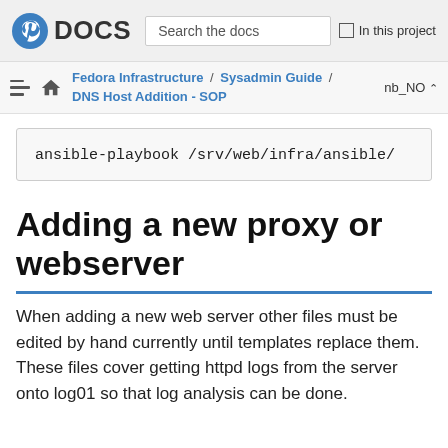DOCS  |  Search the docs  |  In this project
Fedora Infrastructure / Sysadmin Guide / DNS Host Addition - SOP  |  nb_NO
ansible-playbook /srv/web/infra/ansible/
Adding a new proxy or webserver
When adding a new web server other files must be edited by hand currently until templates replace them. These files cover getting httpd logs from the server onto log01 so that log analysis can be done.